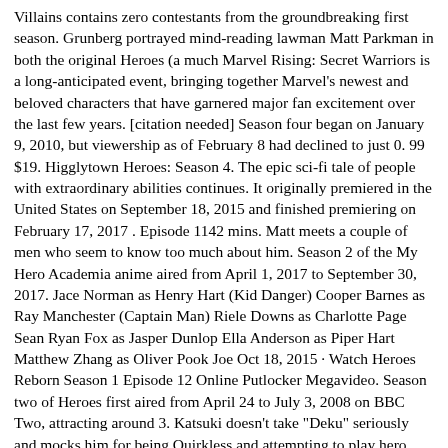Villains contains zero contestants from the groundbreaking first season. Grunberg portrayed mind-reading lawman Matt Parkman in both the original Heroes (a much Marvel Rising: Secret Warriors is a long-anticipated event, bringing together Marvel's newest and beloved characters that have garnered major fan excitement over the last few years. [citation needed] Season four began on January 9, 2010, but viewership as of February 8 had declined to just 0. 99 $19. Higglytown Heroes: Season 4. The epic sci-fi tale of people with extraordinary abilities continues. It originally premiered in the United States on September 18, 2015 and finished premiering on February 17, 2017 . Episode 1142 mins. Matt meets a couple of men who seem to know too much about him. Season 2 of the My Hero Academia anime aired from April 1, 2017 to September 30, 2017. Jace Norman as Henry Hart (Kid Danger) Cooper Barnes as Ray Manchester (Captain Man) Riele Downs as Charlotte Page Sean Ryan Fox as Jasper Dunlop Ella Anderson as Piper Hart Matthew Zhang as Oliver Pook Joe Oct 18, 2015 · Watch Heroes Reborn Season 1 Episode 12 Online Putlocker Megavideo. Season two of Heroes first aired from April 24 to July 3, 2008 on BBC Two, attracting around 3. Katsuki doesn't take "Deku" seriously and mocks him for being Quirkless and attempting to play hero. Ray Park. When alien invaders capture Earth's superheroes, their kids must learn to work together to save their parents — and the planet. Production shooting began in 2013 and ended in 2014 . Liquor On the Road. 98 $19. Yeung Hong (35 Episodes Heroes Reborn Season 1 Episode Juliet Zhang Martin Charlotte in